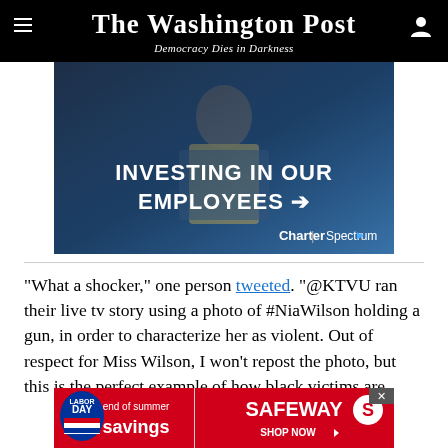The Washington Post — Democracy Dies in Darkness
[Figure (photo): Charter/Spectrum advertisement showing a worker in a yellow vest with text 'INVESTING IN OUR EMPLOYEES' and Charter | Spectrum logo]
“What a shocker,” one person tweeted. “@KTVU ran their live tv story using a photo of #NiaWilson holding a gun, in order to characterize her as violent. Out of respect for Miss Wilson, I won’t repost the photo, but this is the perfect example of how black victims are
[Figure (photo): Safeway advertisement: Labor Day end of summer savings — SAFEWAY SHOP NOW]